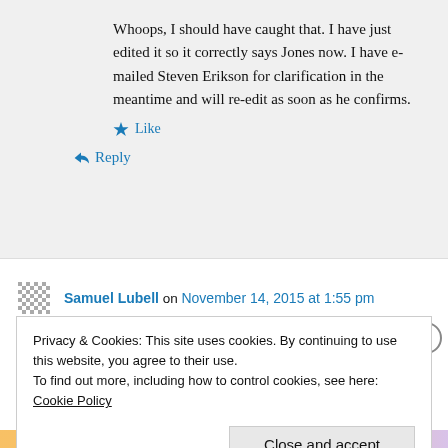Whoops, I should have caught that. I have just edited it so it correctly says Jones now. I have e-mailed Steven Erikson for clarification in the meantime and will re-edit as soon as he confirms.
★ Like
↪ Reply
Samuel Lubell on November 14, 2015 at 1:55 pm
Privacy & Cookies: This site uses cookies. By continuing to use this website, you agree to their use.
To find out more, including how to control cookies, see here: Cookie Policy
Close and accept